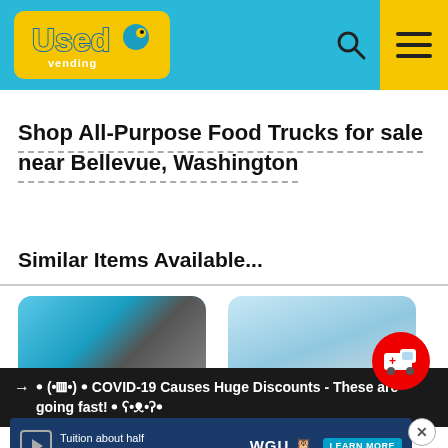Used Vending [logo]
Shop All-Purpose Food Trucks for sale near Bellevue, Washington
Similar Items Available...
[Figure (photo): Thumbnail image of a food truck or vending item (left)]
[Figure (photo): Thumbnail image of a food truck or vending item (right)]
→ ꔷ (•▥•) ꔷ COVID-19 Causes Huge Discounts - These are going fast! ꔷ ʕ•ᴥ•ʔꔷ
[Figure (screenshot): WGU advertisement banner: Tuition about half the national average. LEARN MORE]